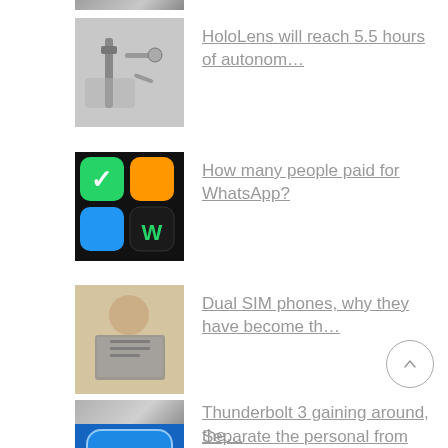[Figure (photo): Partial thumbnail image at top, cropped]
HoloLens will reach 5.5 hours of autonom…
[Figure (photo): HoloLens robotic device thumbnail]
How many people paid for WhatsApp?
[Figure (photo): WhatsApp icon on smartphone screen]
Dual SIM phones, why they have become th…
[Figure (photo): Person typing on laptop/keyboard]
Separate the personal from the professio…
[Figure (photo): Facebook logo glowing blue]
Thunderbolt 3 gaining around, the…
[Figure (photo): Partial thumbnail at bottom, cropped]